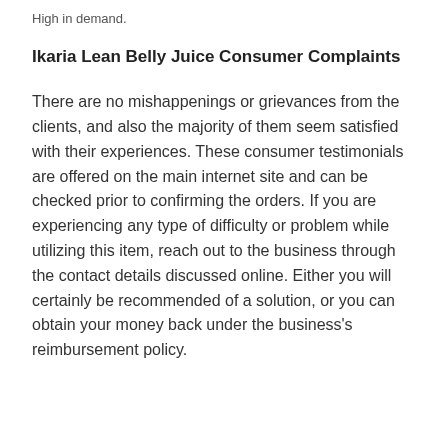High in demand.
Ikaria Lean Belly Juice Consumer Complaints
There are no mishappenings or grievances from the clients, and also the majority of them seem satisfied with their experiences. These consumer testimonials are offered on the main internet site and can be checked prior to confirming the orders. If you are experiencing any type of difficulty or problem while utilizing this item, reach out to the business through the contact details discussed online. Either you will certainly be recommended of a solution, or you can obtain your money back under the business's reimbursement policy.